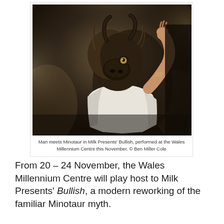[Figure (photo): A person wearing a dark bull/minotaur mask with horns and fur, dressed in a white sleeveless top, surrounded by dramatic smoky atmosphere. The figure raises one arm.]
Man meets Minotaur in Milk Presents' Bullish, performed at the Wales Millennium Centre this November. © Ben Miller Cole
From 20 – 24 November, the Wales Millennium Centre will play host to Milk Presents' Bullish, a modern reworking of the familiar Minotaur myth.